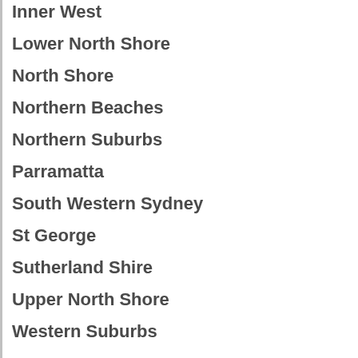Inner West
Lower North Shore
North Shore
Northern Beaches
Northern Suburbs
Parramatta
South Western Sydney
St George
Sutherland Shire
Upper North Shore
Western Suburbs